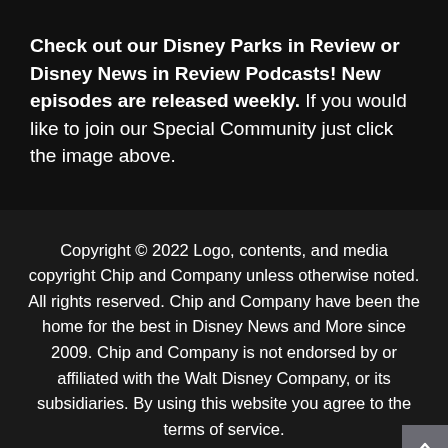Check out our Disney Parks in Review or Disney News in Review Podcasts! New episodes are released weekly. If you would like to join our Special Community just click the image above.
Copyright © 2022 Logo, contents, and media copyright Chip and Company unless otherwise noted. All rights reserved. Chip and Company have been the home for the best in Disney News and More since 2009. Chip and Company is not endorsed by or affiliated with the Walt Disney Company, or its subsidiaries. By using this website you agree to the terms of service. Proudly powered by WordPress.